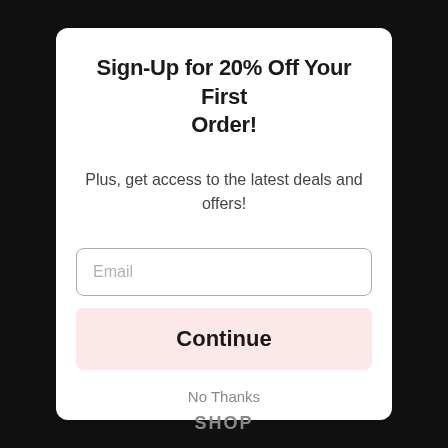Sign-Up for 20% Off Your First Order!
Plus, get access to the latest deals and offers!
Email
Continue
No Thanks